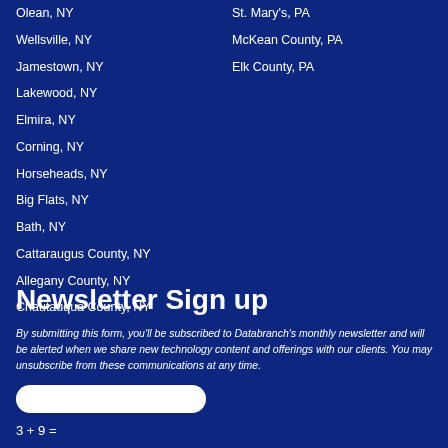Olean, NY
Wellsville, NY
Jamestown, NY
Lakewood, NY
Elmira, NY
Corning, NY
Horseheads, NY
Big Flats, NY
Bath, NY
Cattaraugus County, NY
Allegany County, NY
Chautauqua County, NY
St. Mary's, PA
McKean County, PA
Elk County, PA
Newsletter Sign up
By submitting this form, you'll be subscribed to Databranch's monthly newsletter and will be alerted when we share new technology content and offerings with our clients. You may unsubscribe from these communications at any time.
3 + 9 =